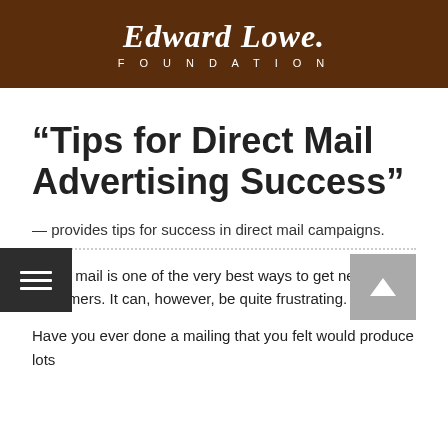[Figure (logo): Edward Lowe Foundation logo — cursive 'Edward Lowe.' in white script above 'FOUNDATION' in white spaced capitals, on a dark brown background]
“Tips for Direct Mail Advertising Success”
— provides tips for success in direct mail campaigns.
Direct mail is one of the very best ways to get new customers. It can, however, be quite frustrating.
Have you ever done a mailing that you felt would produce lots